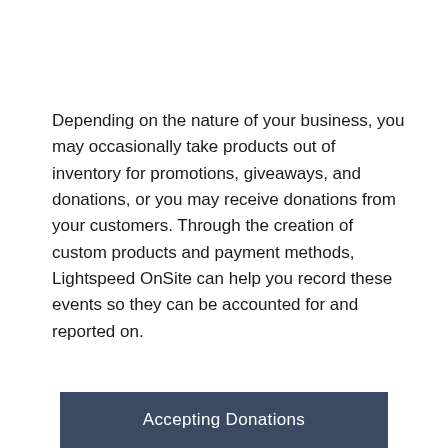Depending on the nature of your business, you may occasionally take products out of inventory for promotions, giveaways, and donations, or you may receive donations from your customers. Through the creation of custom products and payment methods, Lightspeed OnSite can help you record these events so they can be accounted for and reported on.
Accepting Donations